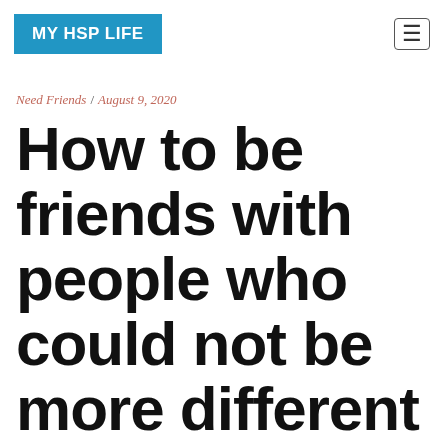MY HSP LIFE
Need Friends / August 9, 2020
How to be friends with people who could not be more different